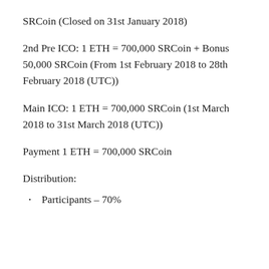SRCoin (Closed on 31st January 2018)
2nd Pre ICO: 1 ETH = 700,000 SRCoin + Bonus 50,000 SRCoin (From 1st February 2018 to 28th February 2018 (UTC))
Main ICO: 1 ETH = 700,000 SRCoin (1st March 2018 to 31st March 2018 (UTC))
Payment 1 ETH = 700,000 SRCoin
Distribution:
Participants – 70%